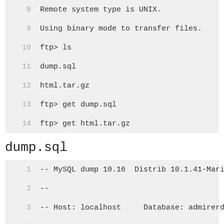[Figure (screenshot): Code block showing FTP session lines 8-14]
dump.sql
[Figure (screenshot): Code block showing dump.sql content lines 1-9]